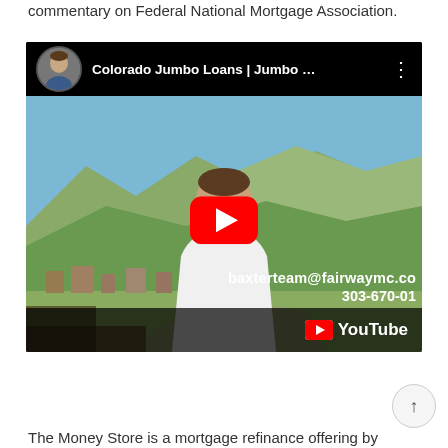commentary on Federal National Mortgage Association.
[Figure (screenshot): YouTube video thumbnail showing a man in a white shirt outdoors with mountains and a town in the background. Video title: 'Colorado Jumbo Loans | Jumbo ...' with baxterteam@fairwaymc.co and 303-670-01 visible as overlay text. YouTube play button in center. YouTube logo in bottom right corner.]
The Money Store is a mortgage refinance offering by